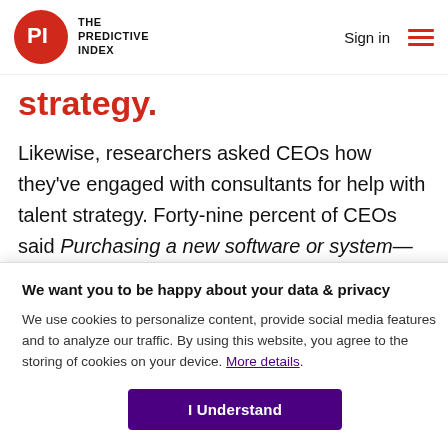THE PREDICTIVE INDEX | Sign in
strategy.
Likewise, researchers asked CEOs how they've engaged with consultants for help with talent strategy. Forty-nine percent of CEOs said Purchasing a new software or system—up 19% from 2019. Adopting a new process remained flat in...
We want you to be happy about your data & privacy
We use cookies to personalize content, provide social media features and to analyze our traffic. By using this website, you agree to the storing of cookies on your device. More details.
I Understand